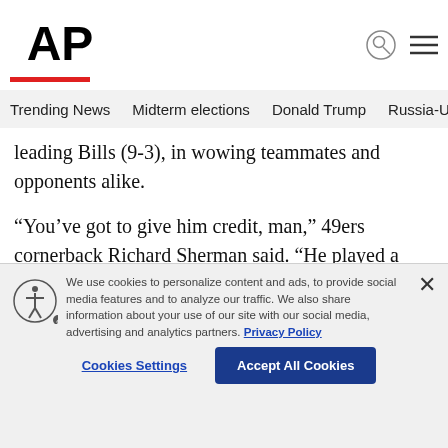AP
Trending News   Midterm elections   Donald Trump   Russia-Ukr
leading Bills (9-3), in wowing teammates and opponents alike.
“You’ve got to give him credit, man,” 49ers cornerback Richard Sherman said. “He played a freaking fantastic game.”
This certainly isn’t the plodding Tyrod Taylor-led
We use cookies to personalize content and ads, to provide social media features and to analyze our traffic. We also share information about your use of our site with our social media, advertising and analytics partners. Privacy Policy
Cookies Settings   Accept All Cookies